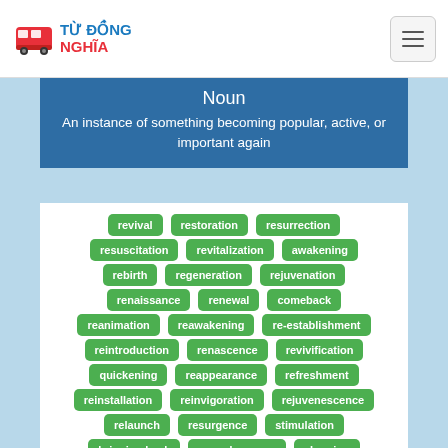TỪ ĐỒNG NGHĨA
Noun
An instance of something becoming popular, active, or important again
revival
restoration
resurrection
resuscitation
revitalization
awakening
rebirth
regeneration
rejuvenation
renaissance
renewal
comeback
reanimation
reawakening
re-establishment
reintroduction
renascence
revivification
quickening
reappearance
refreshment
reinstallation
reinvigoration
rejuvenescence
relaunch
resurgence
stimulation
bringing back
recrudescence
cheering